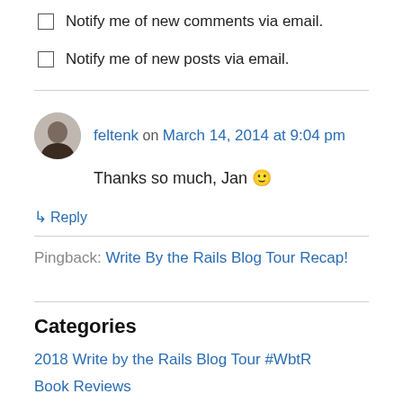Notify me of new comments via email.
Notify me of new posts via email.
feltenk on March 14, 2014 at 9:04 pm
Thanks so much, Jan 🙂
↳ Reply
Pingback: Write By the Rails Blog Tour Recap!
Categories
2018 Write by the Rails Blog Tour #WbtR
Book Reviews
Paris